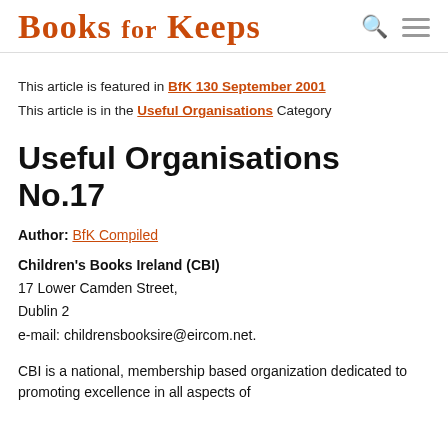Books for Keeps
This article is featured in BfK 130 September 2001
This article is in the Useful Organisations Category
Useful Organisations No.17
Author: BfK Compiled
Children's Books Ireland (CBI)
17 Lower Camden Street,
Dublin 2
e-mail: childrensbooksire@eircom.net.
CBI is a national, membership based organization dedicated to promoting excellence in all aspects of